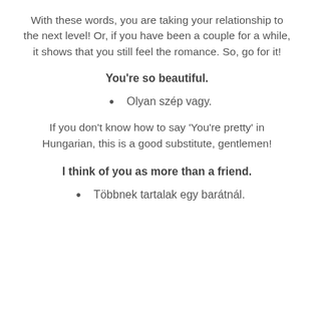With these words, you are taking your relationship to the next level! Or, if you have been a couple for a while, it shows that you still feel the romance. So, go for it!
You're so beautiful.
Olyan szép vagy.
If you don't know how to say 'You're pretty' in Hungarian, this is a good substitute, gentlemen!
I think of you as more than a friend.
Többnek tartalak egy barátnál.